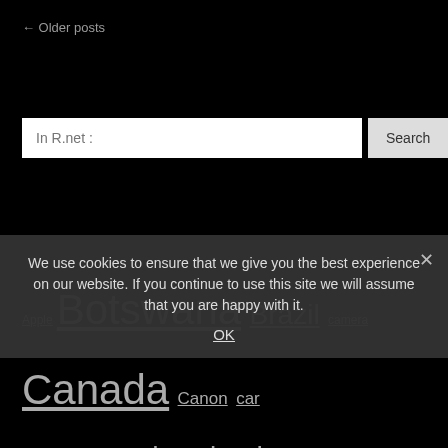← Older posts
In R.net :
Search
Apple Botswana Brazil camera Canada Canon car Cheetah Costa Rica download eagle elephant Falkland Islands eps free fun Gorilla India Iguazu lions Ngorongoro Nikon Namibia Optical illusion Photo polar bear Scotland Serengeti Sony
We use cookies to ensure that we give you the best experience on our website. If you continue to use this site we will assume that you are happy with it.
OK